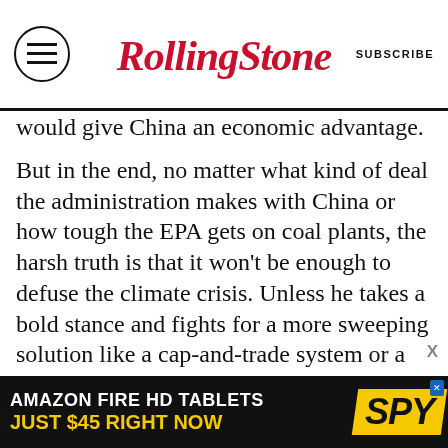RollingStone | SUBSCRIBE
would give China an economic advantage.
But in the end, no matter what kind of deal the administration makes with China or how tough the EPA gets on coal plants, the harsh truth is that it won't be enough to defuse the climate crisis. Unless he takes a bold stance and fights for a more sweeping solution like a cap-and-trade system or a carbon tax, the best Obama can do is to help limit the pain and expense we pass on to future generations. But the president knows there is little political upside to spending his last years in office focused on a gloomy subject like climate change. Instead, he has opted to wage his next legislative battle over immigration, an issue that
[Figure (infographic): Amazon Fire HD Tablets advertisement banner: 'AMAZON FIRE HD TABLETS / JUST $45 RIGHT NOW' with SPY logo on yellow background]